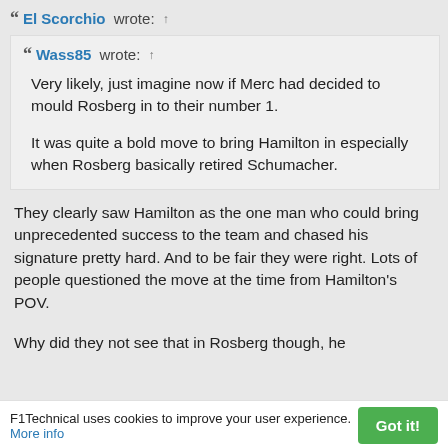El Scorchio wrote: ↑
Wass85 wrote: ↑
Very likely, just imagine now if Merc had decided to mould Rosberg in to their number 1.

It was quite a bold move to bring Hamilton in especially when Rosberg basically retired Schumacher.
They clearly saw Hamilton as the one man who could bring unprecedented success to the team and chased his signature pretty hard. And to be fair they were right. Lots of people questioned the move at the time from Hamilton's POV.
Why did they not see that in Rosberg though, he
F1Technical uses cookies to improve your user experience. More info